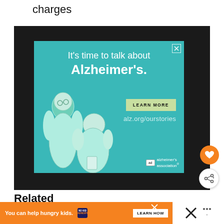charges
[Figure (illustration): Alzheimer's Association advertisement on teal background. Text reads: 'It's time to talk about Alzheimer's.' with a LEARN MORE button and website alz.org/ourstories. Illustrated figures of two people are shown. Alzheimer's association logo appears at bottom right. Ad is displayed on a dark background with a close X button.]
[Figure (illustration): Orange circular button with heart icon (favorite/like button)]
[Figure (illustration): White circular share button with share icon]
Related
[Figure (illustration): Orange banner advertisement: 'You can help hungry kids.' with No Kid Hungry logo and LEARN HOW button. Close X button at right.]